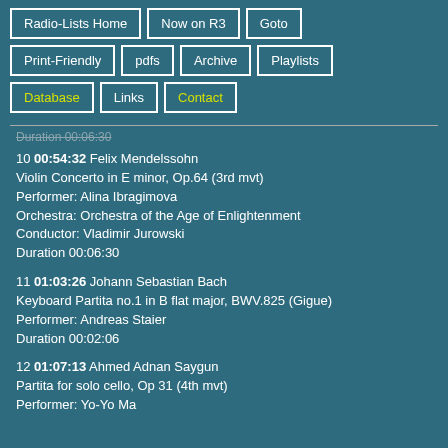Radio-Lists Home | Now on R3 | Goto | Print-Friendly | pdfs | Archive | Playlists | Database | Links | Contact
Duration 00:06:30 (partial, cut off at top)
10 00:54:32 Felix Mendelssohn
Violin Concerto in E minor, Op.64 (3rd mvt)
Performer: Alina Ibragimova
Orchestra: Orchestra of the Age of Enlightenment
Conductor: Vladimir Jurowski
Duration 00:06:30
11 01:03:26 Johann Sebastian Bach
Keyboard Partita no.1 in B flat major, BWV.825 (Gigue)
Performer: Andreas Staier
Duration 00:02:06
12 01:07:13 Ahmed Adnan Saygun
Partita for solo cello, Op 31 (4th mvt)
Performer: Yo-Yo Ma (partial)